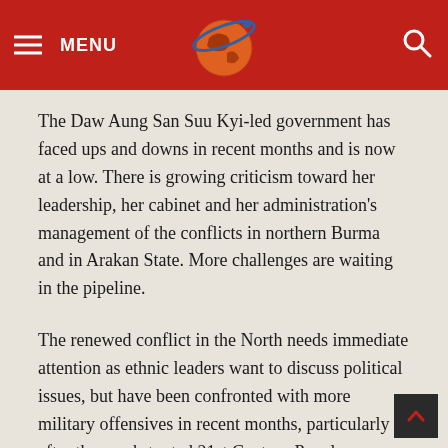MENU [logo] [search]
The Daw Aung San Suu Kyi-led government has faced ups and downs in recent months and is now at a low. There is growing criticism toward her leadership, her cabinet and her administration's management of the conflicts in northern Burma and in Arakan State. More challenges are waiting in the pipeline.
The renewed conflict in the North needs immediate attention as ethnic leaders want to discuss political issues, but have been confronted with more military offensives in recent months, particularly after the much-touted 21st Century Panglong peace conference at the end of August.
The recent offensive by the “Northern Alliance” in